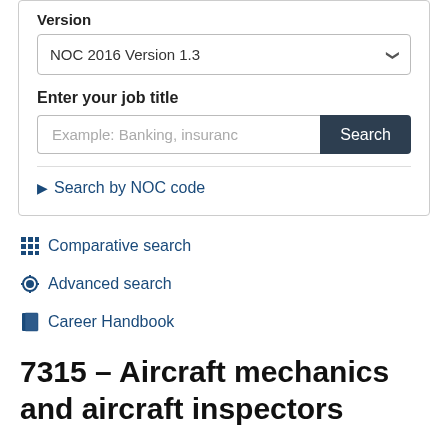Version
NOC 2016 Version 1.3
Enter your job title
Example: Banking, insurance
Search
▶ Search by NOC code
⊞ Comparative search
⚙ Advanced search
📖 Career Handbook
7315 – Aircraft mechanics and aircraft inspectors